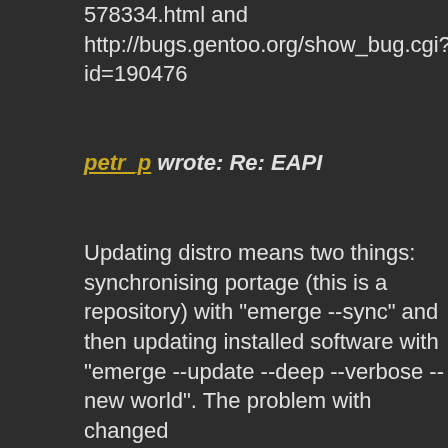578334.html and http://bugs.gentoo.org/show_bug.cgi?id=190476
petr_p wrote: Re: EAPI
Updating distro means two things: synchronising portage (this is a repository) with "emerge --sync" and then updating installed software with "emerge --update --deep --verbose --new world". The problem with changed EAPI you met is a little specific because it's first time when the EAPI (format of ebuilds, something like spec format in RPM world) has changed. In general, you need to understand that fresh installation means you get old software with new portage. So it's highly suggested to do an update. However immediate update is standard thing in gentoo world because user usually changes his preferred profile, compiler options and USE flags on installation and he wants